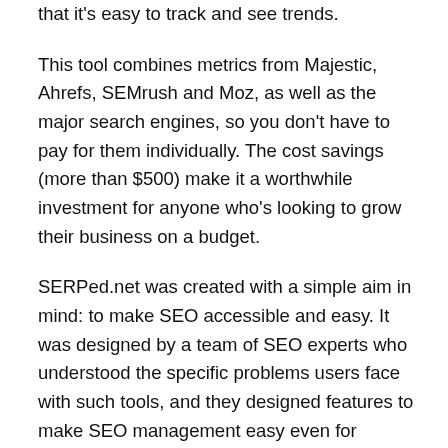that it's easy to track and see trends.
This tool combines metrics from Majestic, Ahrefs, SEMrush and Moz, as well as the major search engines, so you don't have to pay for them individually. The cost savings (more than $500) make it a worthwhile investment for anyone who's looking to grow their business on a budget.
SERPed.net was created with a simple aim in mind: to make SEO accessible and easy. It was designed by a team of SEO experts who understood the specific problems users face with such tools, and they designed features to make SEO management easy even for novices.